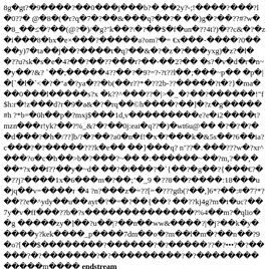8g�gt?�9����?��0���j���b?� ��2y?-;!����?���?l�0??� @�8�(�r?q�7�?��&���q?��?� ��)g�?��??#?w��8_��≤�?��(@?�)/�g?'k��?\�?��$�f�un�??4t?)�??c&�?�z�i���8�bx�e×���?�����a?om?�= €x���-����?0����y)7�ta��j��?����t�q?��&�?�z�?���yxg)�z?�l��??u?sk�s�e�4?��?��??���r?��-��2?�� �s?�v�d�r�n~�y��?&? `��;�����4??��?�9?=?-?t??l��;���~p�� �p�| �[`�l�`<�?�"a�?ya�??�b(��r??*�??2b-??�����?t�?}�ma���0���l�����s?x �k??^���??�|>�_�?��?������!"f$h:r�!z���d?r�9�a&�?�rq��©h����?��]�?z�g�����#h ?*b=�0h��p�?mxj$���1d,v���������e?e�i2����t?mzn���r!yk?��?%_&?�?��0j:eai�q??�)�wt6u@�� �?�?�?��d���?�h�/??]b/?�?��?a0�n�f!�x�?���k�&5s��?6��ia?c���?�?�����???k�e�� ��}���q? n'??�.���???w�?xr^���?o�c�h��>b�?���?~�� �:������~��?m,?��,���*?x��f??��y�~d� ��?�i���?�`{��?�g��?{���€?��??j?����1x�6���m�?��;'�_9 �??8��?����:18���u�jq��v=����r �4 ?n?���z�=??[=�???gtb(?��,]6*?��:#�7?*?��??e�^ydy��u��ayt�?�=�?��{��? ��??kj4g?m�t�uc?��7y�v�ff���??b�?s��������������?%4��m?�qlio��g �����zy�]��?u��|?��n��ww&����?|�j?��k�y�����y?kek����_p����7dm��o�?m��l�m�?��n��?9�o?[��$��������?������?�?�����??�?•••?�?�����?�?�������?�?���������?�?�������������m���� endstream
endobj 28 0 obj[/iccbased 27 0 r] endobj 29 0 obj<>stream
�??�adobed€��??���� 0 �� ����
�����������������������$$"$S$53335;;;;;;;;;0 �� 0
�������������������%����% #��# ((%
((22022;;;;;;;;;��?��??�"������??����������������������